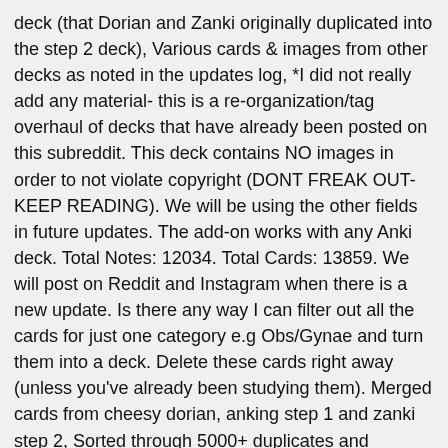deck (that Dorian and Zanki originally duplicated into the step 2 deck), Various cards & images from other decks as noted in the updates log, *I did not really add any material- this is a re-organization/tag overhaul of decks that have already been posted on this subreddit. This deck contains NO images in order to not violate copyright (DONT FREAK OUT-KEEP READING). We will be using the other fields in future updates. The add-on works with any Anki deck. Total Notes: 12034. Total Cards: 13859. We will post on Reddit and Instagram when there is a new update. Is there any way I can filter out all the cards for just one category e.g Obs/Gynae and turn them into a deck. Delete these cards right away (unless you've already been studying them). Merged cards from cheesy dorian, anking step 1 and zanki step 2, Sorted through 5000+ duplicates and merged them. The video on updating explains how to update to these versions without losing information (using the. It combines the best parts of Dorian and Zanki Step 2 and merges with the Step 1 deck. The desktop version of Anki is free. Anki is an open flashcard app that uses a spaced repetition algorithm, which is proven to increase memory and retention. Make for the